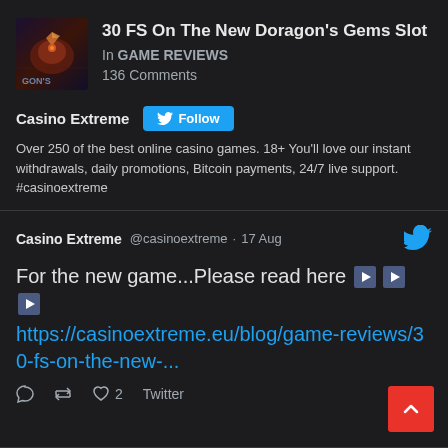[Figure (screenshot): Thumbnail image for Dragon's Gems Slot article with dark purple/orange background showing gem/dragon artwork and text 'GON'S']
30 FS On The New Doragon's Gems Slot
In GAME REVIEWS
136 Comments
Casino Extreme Follow
Over 250 of the best online casino games. 18+ You'll love our instant withdrawals, daily promotions, Bitcoin payments, 24/7 live support. #casinoextreme
Casino Extreme @casinoextreme · 17 Aug
For the new game...Please read here▶▶▶ https://casinoextreme.eu/blog/game-reviews/30-fs-on-the-new-...
♡ 2   Twitter